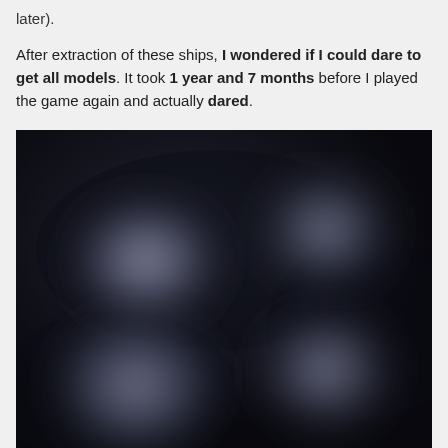later).
After extraction of these ships, I wondered if I could dare to get all models. It took 1 year and 7 months before I played the game again and actually dared.
[Figure (photo): A dark, blurry photograph showing several glowing bluish-white orb-like shapes against a very dark background, resembling spacecraft or celestial objects in a dark environment.]